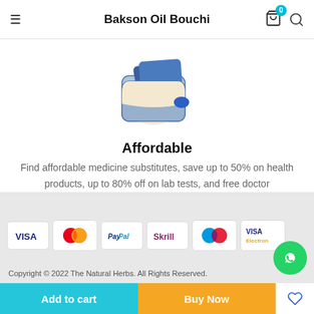Bakson Oil Bouchi
[Figure (illustration): A blue wallet illustration with cards and an oval coin/badge in blue]
Affordable
Find affordable medicine substitutes, save up to 50% on health products, up to 80% off on lab tests, and free doctor consultations.
[Figure (infographic): Payment method logos: VISA, Mastercard, PayPal, Skrill, Maestro, VISA Electron]
Copyright © 2022 The Natural Herbs. All Rights Reserved.
Add to cart
Buy Now